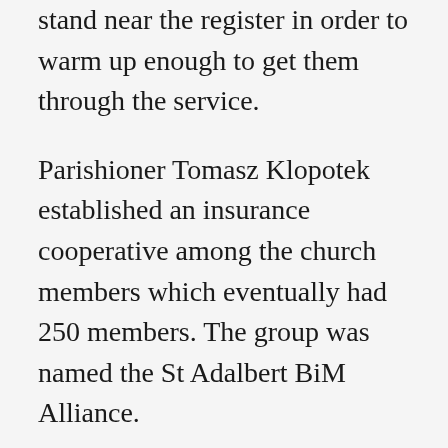stand near the register in order to warm up enough to get them through the service.
Parishioner Tomasz Klopotek established an insurance cooperative among the church members which eventually had 250 members. The group was named the St Adalbert BiM Alliance.
In 1875 a transfer of pastors took place. Due to discord among the parishioners at St. Stanislaus, Father Rodowicz of Saint Stan was exchanged with Father Kralcyznski. Upon his arrival at St. Hedwigs, Father Rodowicz decided that the old wooden school house would be sold at a raffle for one dollar per